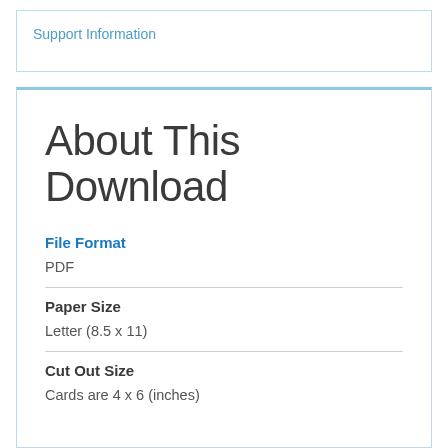Support Information
About This Download
File Format
PDF
Paper Size
Letter (8.5 x 11)
Cut Out Size
Cards are 4 x 6 (inches)